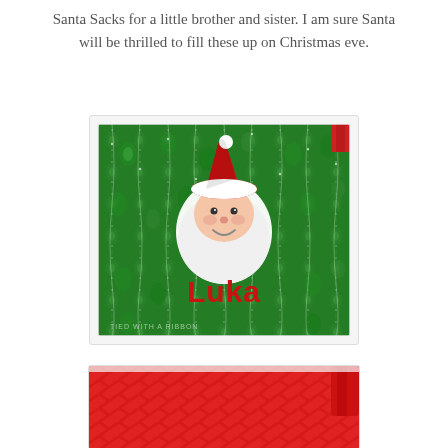Santa Sacks for a little brother and sister.  I am sure Santa will be thrilled to fill these up on Christmas eve.
[Figure (photo): A green fabric Santa Sack with a pattern of green ornaments and white string lights. A Santa Claus face applique (with red hat, white beard, and pink face) is in the center. The name 'Luka' is embroidered in red letters at the bottom. A red ribbon/handle is visible at the top right corner. A small watermark reads 'TIED WITH A RIBBON' at the bottom left.]
[Figure (photo): Partial view of a second Santa Sack in red with a chevron/zigzag pattern and a red ribbon handle visible at the right.]